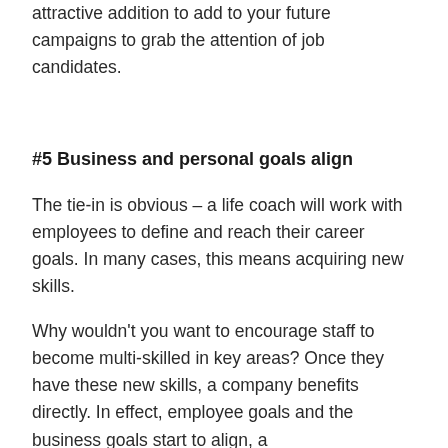attractive addition to add to your future campaigns to grab the attention of job candidates.
#5 Business and personal goals align
The tie-in is obvious – a life coach will work with employees to define and reach their career goals. In many cases, this means acquiring new skills.
Why wouldn't you want to encourage staff to become multi-skilled in key areas? Once they have these new skills, a company benefits directly. In effect, employee goals and the business goals start to align, a